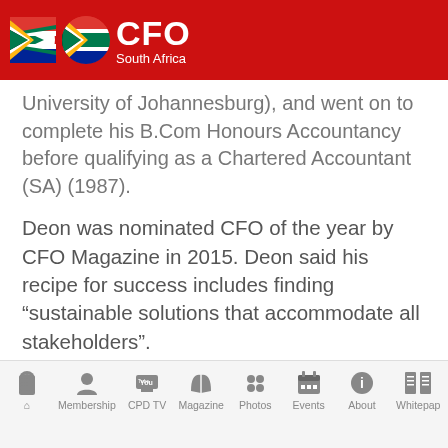CFO South Africa
University of Johannesburg), and went on to complete his B.Com Honours Accountancy before qualifying as a Chartered Accountant (SA) (1987).
Deon was nominated CFO of the year by CFO Magazine in 2015. Deon said his recipe for success includes finding “sustainable solutions that accommodate all stakeholders”.
Deon won the CFO of the year award in 2015.
Work
2017 – Presenting Group Financial Directo...
Home | Membership | CPD TV | Magazine | Photos | Events | About | Whitepaper